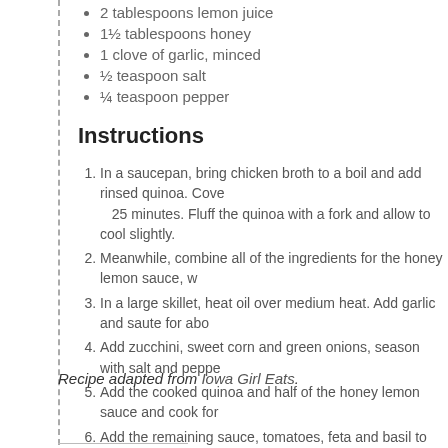2 tablespoons lemon juice
1½ tablespoons honey
1 clove of garlic, minced
½ teaspoon salt
¼ teaspoon pepper
Instructions
In a saucepan, bring chicken broth to a boil and add rinsed quinoa. Cove... 25 minutes. Fluff the quinoa with a fork and allow to cool slightly.
Meanwhile, combine all of the ingredients for the honey lemon sauce, w...
In a large skillet, heat oil over medium heat. Add garlic and saute for abo...
Add zucchini, sweet corn and green onions, season with salt and peppe...
Add the cooked quinoa and half of the honey lemon sauce and cook for...
Add the remaining sauce, tomatoes, feta and basil to the skillet and stir ...
Recipe adapted from Iowa Girl Eats.